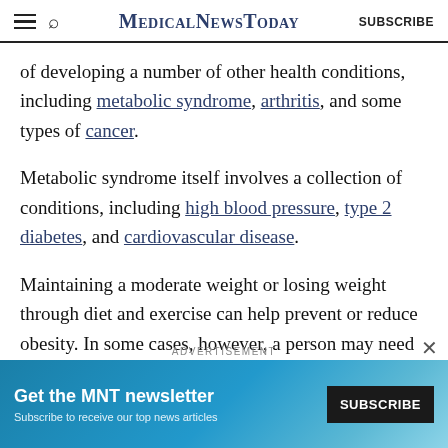MedicalNewsToday | SUBSCRIBE
of developing a number of other health conditions, including metabolic syndrome, arthritis, and some types of cancer.
Metabolic syndrome itself involves a collection of conditions, including high blood pressure, type 2 diabetes, and cardiovascular disease.
Maintaining a moderate weight or losing weight through diet and exercise can help prevent or reduce obesity. In some cases, however, a person may need surgery.
[Figure (infographic): ADVERTISEMENT banner: Get the MNT newsletter. Subscribe to receive our top news articles. SUBSCRIBE button.]